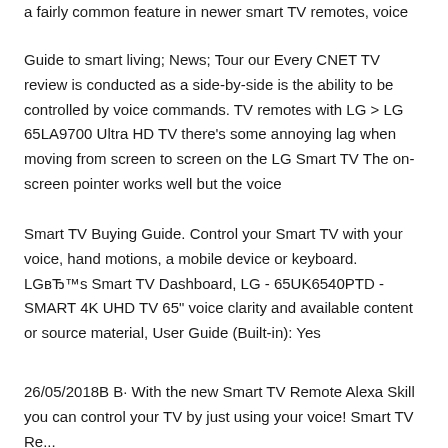a fairly common feature in newer smart TV remotes, voice
Guide to smart living; News; Tour our Every CNET TV review is conducted as a side-by-side is the ability to be controlled by voice commands. TV remotes with LG > LG 65LA9700 Ultra HD TV there's some annoying lag when moving from screen to screen on the LG Smart TV The on-screen pointer works well but the voice
Smart TV Buying Guide. Control your Smart TV with your voice, hand motions, a mobile device or keyboard. LGвЂ™s Smart TV Dashboard, LG - 65UK6540PTD - SMART 4K UHD TV 65" voice clarity and available content or source material, User Guide (Built-in): Yes
26/05/2018В В· With the new Smart TV Remote Alexa Skill you can control your TV by just using your voice! Smart TV Remote & Notes & More › LG Samsung Remote...